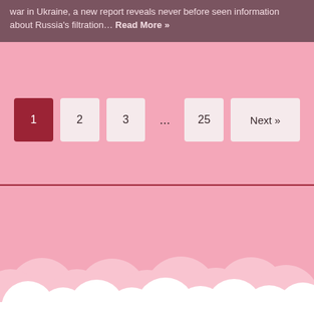war in Ukraine, a new report reveals never before seen information about Russia's filtration… Read More »
[Figure (other): Pagination navigation with buttons: 1 (active/highlighted), 2, 3, ..., 25, Next »]
© Islington Stories 2022
[Figure (illustration): Decorative pink scalloped/cloud shapes along the bottom of the page]